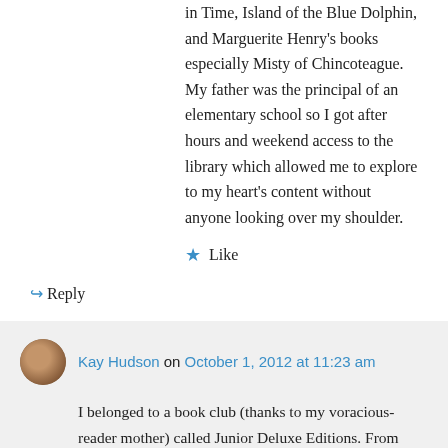in Time, Island of the Blue Dolphin, and Marguerite Henry's books especially Misty of Chincoteague. My father was the principal of an elementary school so I got after hours and weekend access to the library which allowed me to explore to my heart's content without anyone looking over my shoulder.
★ Like
↪ Reply
Kay Hudson on October 1, 2012 at 11:23 am
I belonged to a book club (thanks to my voracious-reader mother) called Junior Deluxe Editions. From those I remember